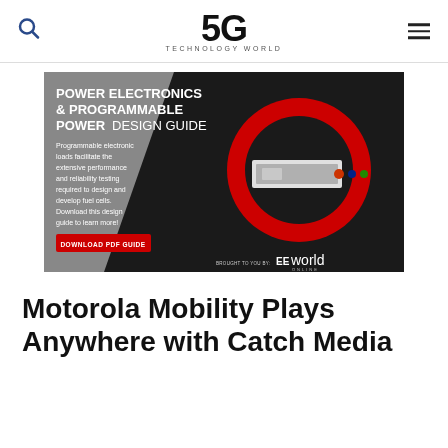5G Technology World
[Figure (illustration): Advertisement banner for Power Electronics & Programmable Power Design Guide by EEworld Online. Gray and black background with red circle graphic containing an image of a power supply unit. Text reads: POWER ELECTRONICS & PROGRAMMABLE POWER DESIGN GUIDE. Programmable electronic loads facilitate the extensive performance and reliability testing required to design and develop fuel cells. Download this design guide to learn more! DOWNLOAD PDF GUIDE. BROUGHT TO YOU BY: EEworld ONLINE]
Motorola Mobility Plays Anywhere with Catch Media